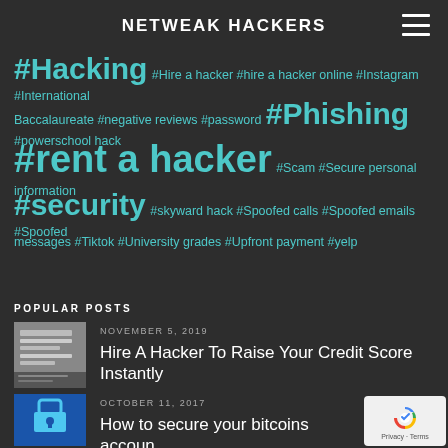NETWEAK HACKERS
[Figure (infographic): Tag cloud with hacking-related hashtags in teal on dark background. Background tags (faded): #Bad credit, #Change of grades, #College, #Credit card, #Email, #fake reviews, #Finances, #Fix credit score. Foreground tags: #Hacking (large), #Hire a hacker, #hire a hacker online, #Instagram, #International Baccalaureate, #negative reviews, #password, #Phishing (large), #powerschool hack, #rent a hacker (xlarge), #Scam, #Secure personal information, #security (large), #skyward hack, #Spoofed calls, #Spoofed emails, #Spoofed messages, #Tiktok, #University grades, #Upfront payment, #yelp]
POPULAR POSTS
[Figure (photo): Thumbnail image of a credit score document on a keyboard]
NOVEMBER 5, 2019
Hire A Hacker To Raise Your Credit Score Instantly
[Figure (photo): Thumbnail image of a padlock on a blue digital background representing bitcoin security]
OCTOBER 11, 2017
How to secure your bitcoins accoun